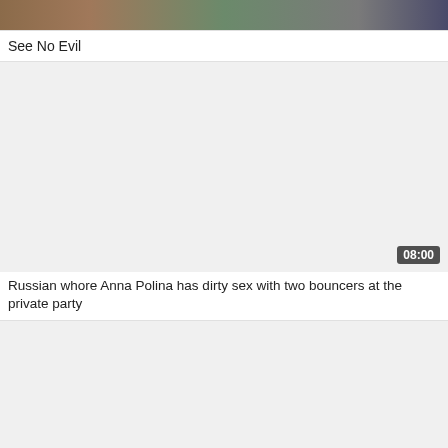[Figure (screenshot): Partial video thumbnail strip at top of page showing blurred/cropped video content]
See No Evil
[Figure (screenshot): Video thumbnail area (blank/white) with duration badge showing 08:00 in bottom right corner]
Russian whore Anna Polina has dirty sex with two bouncers at the private party
[Figure (screenshot): Video thumbnail area (blank/white) at bottom of page]